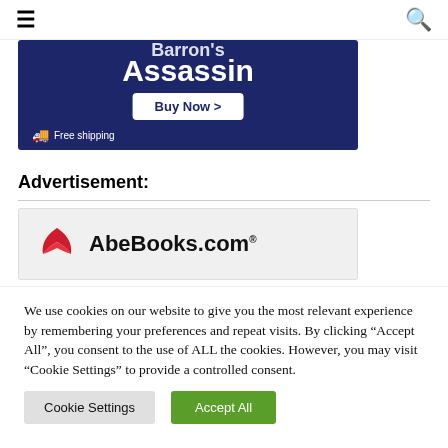☰  🔍
[Figure (illustration): Dark blue banner advertisement showing 'Assassin' in large bold white text, a 'Buy Now >' button, and 'Free shipping' text with truck icon]
Advertisement:
[Figure (logo): AbeBooks.com logo with red wing mark on grey background]
We use cookies on our website to give you the most relevant experience by remembering your preferences and repeat visits. By clicking "Accept All", you consent to the use of ALL the cookies. However, you may visit "Cookie Settings" to provide a controlled consent.
Cookie Settings   Accept All